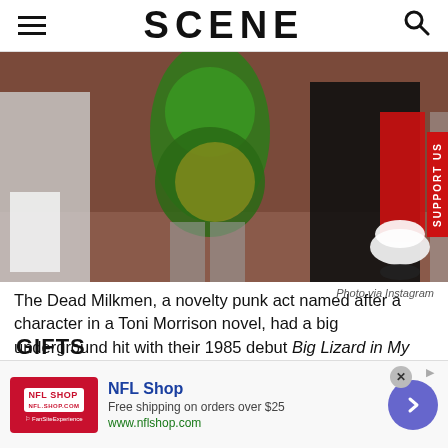SCENE
[Figure (photo): Two people in Halloween costumes at an event. One wears a green sequined leafy costume with fishnet stockings (Poison Ivy), the other wears a black leather skirt and red gloves holding white flowers (Harley Quinn). Partially visible figures in background.]
Photo via Instagram
The Dead Milkmen, a novelty punk act named after a character in a Toni Morrison novel, had a big underground hit with their 1985 debut Big Lizard in My Backyard. The album yielded the single “Bitchin’ Camaro,” a f…
NFL Shop
Free shipping on orders over $25
www.nflshop.com
GIFTS